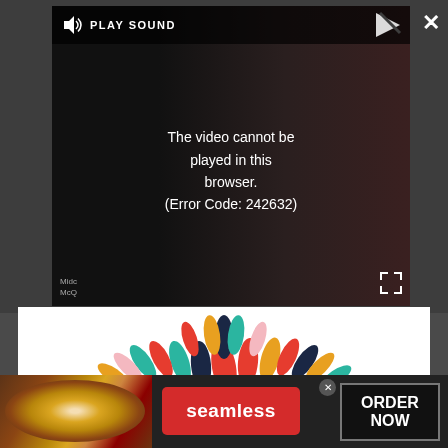[Figure (screenshot): Video player showing error message: 'The video cannot be played in this browser. (Error Code: 242632)' with PLAY SOUND control bar at top. Small text reads 'Midc McQ' at bottom left of video. Fullscreen and close buttons visible.]
[Figure (logo): Jennie Allen New York Times Bestseller promotional image with colorful confetti/pill shapes radiating from top, large dark blue bold text 'JENNIE ALLEN' and subtitle 'NEW YORK TIMES BESTSELLER']
[Figure (screenshot): Seamless food delivery advertisement banner showing pizza image on left, red Seamless logo button in center, and 'ORDER NOW' button in dark box on right, with small X close button.]